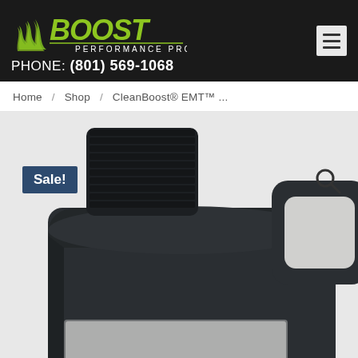[Figure (logo): Boost Performance Products logo — green stylized flame and bold green BOOST text with white PERFORMANCE PRODUCTS subtitle on dark background]
PHONE: (801) 569-1068
Home / Shop / CleanBoost® EMT™ ...
[Figure (photo): Close-up product photo of a large dark/black plastic jug with a black screw-on cap and a handle, containing CleanBoost EMT fluid. A 'Sale!' badge is overlaid in the top-left area. A search icon appears top-right.]